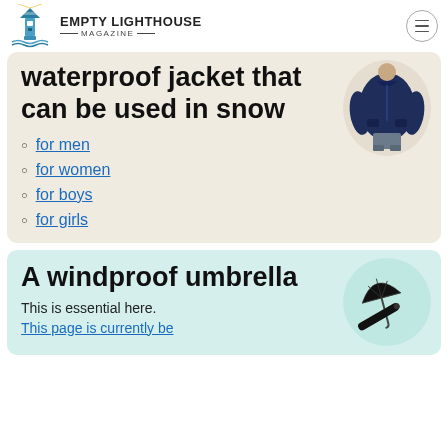Empty Lighthouse Magazine
Waterproof jacket that can be used in snow
for men
for women
for boys
for girls
[Figure (photo): Man wearing a navy blue waterproof jacket]
A windproof umbrella
This is essential here.
This page is currently being...
[Figure (photo): Black windproof folding umbrella, open and collapsed versions]